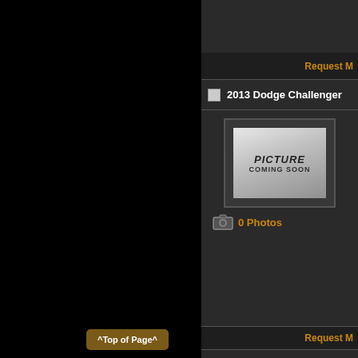Request M
2013 Dodge Challenger
[Figure (photo): Picture Coming Soon placeholder image for 2013 Dodge Challenger]
0 Photos
Request M
2013 Dodge Dart SXT
[Figure (photo): Picture Coming Soon placeholder image for 2013 Dodge Dart SXT]
^Top of Page^